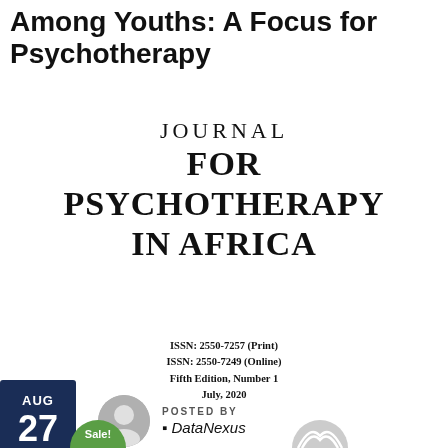Among Youths: A Focus for Psychotherapy
[Figure (logo): Journal for Psychotherapy in Africa journal logo/title in large serif text]
ISSN: 2550-7257 (Print)
ISSN: 2550-7249 (Online)
Fifth Edition, Number 1
July, 2020
POSTED BY
DataNexus
AUG 27
[Figure (other): Sale! badge (green rounded shape) and circular logo icon at bottom]